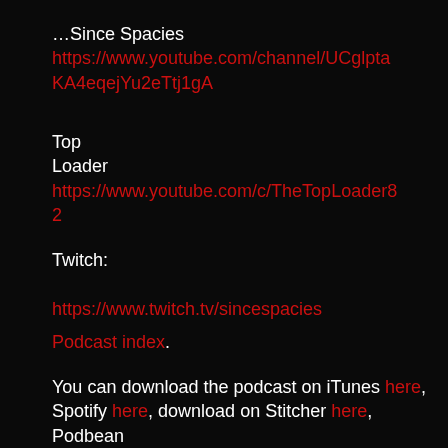…Since Spacies https://www.youtube.com/channel/UCglptaKA4eqejYu2eTtj1gA
Top Loader https://www.youtube.com/c/TheTopLoader82
Twitch:

https://www.twitch.tv/sincespacies
Podcast index.
You can download the podcast on iTunes here, Spotify here, download on Stitcher here, Podbean here or stream it below: